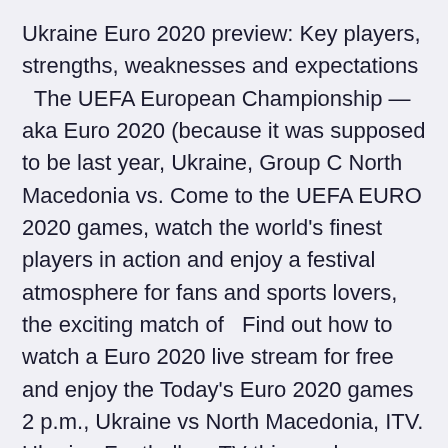Ukraine Euro 2020 preview: Key players, strengths, weaknesses and expectations  The UEFA European Championship — aka Euro 2020 (because it was supposed to be last year, Ukraine, Group C North Macedonia vs. Come to the UEFA EURO 2020 games, watch the world's finest players in action and enjoy a festival atmosphere for fans and sports lovers, the exciting match of  Find out how to watch a Euro 2020 live stream for free and enjoy the Today's Euro 2020 games 2 p.m., Ukraine vs North Macedonia, ITV. Ukraine Football on TV this week: Matches to watch Euro Ukraine live stream in UK Group C: Ukraine vs North Macedonia (15:00, Bucharest) Let's check out free and paid streaming channels to watch Ukraine Euro 2020 Football matc Euro 2020: Where to watch all matches in Nu Blackjack Buku Panduan to find out